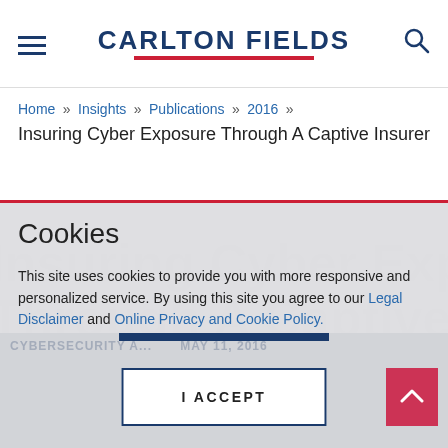Carlton Fields
Home » Insights » Publications » 2016 » Insuring Cyber Exposure Through A Captive Insurer
Insuring Cyber Exposure Through A Captive Insurer
Cookies
This site uses cookies to provide you with more responsive and personalized service. By using this site you agree to our Legal Disclaimer and Online Privacy and Cookie Policy.
I ACCEPT